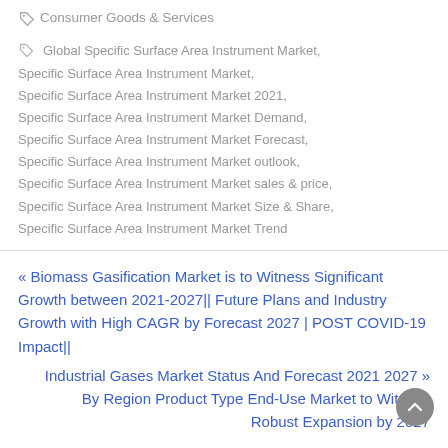Consumer Goods & Services
Global Specific Surface Area Instrument Market, Specific Surface Area Instrument Market, Specific Surface Area Instrument Market 2021, Specific Surface Area Instrument Market Demand, Specific Surface Area Instrument Market Forecast, Specific Surface Area Instrument Market outlook, Specific Surface Area Instrument Market sales & price, Specific Surface Area Instrument Market Size & Share, Specific Surface Area Instrument Market Trend
« Biomass Gasification Market is to Witness Significant Growth between 2021-2027|| Future Plans and Industry Growth with High CAGR by Forecast 2027 | POST COVID-19 Impact||
Industrial Gases Market Status And Forecast 2021 2027 » By Region Product Type End-Use Market to Witness Robust Expansion by 2027